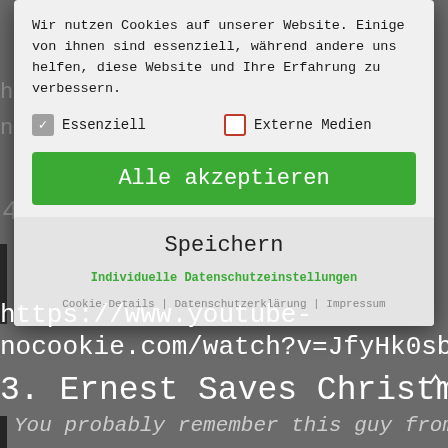[Figure (screenshot): Cookie consent modal dialog overlaying a website page. The modal contains text in German about cookie usage, checkboxes for 'Essenziell' (checked) and 'Externe Medien' (unchecked), a green 'Alle akzeptieren' button, a 'Speichern' button, and links for 'Individuelle Datenschutzeinstellungen', 'Cookie-Details', 'Datenschutzerklärung', and 'Impressum'. Behind the modal are partially visible URLs and text in monospace font on a grey background.]
https://www.youtube-nocookie.com/watch?v=JfyHk0sbFn4
3. Ernest Saves Christmas
You probably remember this guy from a